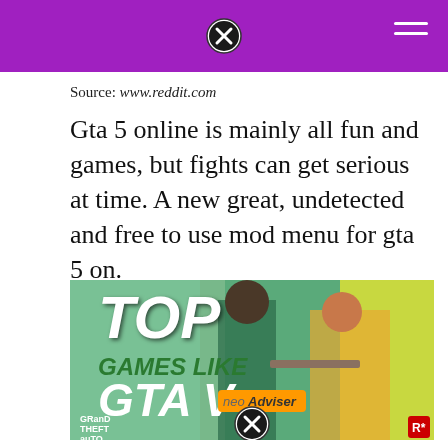Source: www.reddit.com
Gta 5 online is mainly all fun and games, but fights can get serious at time. A new great, undetected and free to use mod menu for gta 5 on.
[Figure (photo): Promotional image for 'Top Games Like GTA V' featuring Grand Theft Auto V characters and logo with neoAdviser branding]